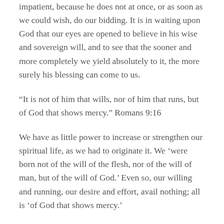impatient, because he does not at once, or as soon as we could wish, do our bidding. It is in waiting upon God that our eyes are opened to believe in his wise and sovereign will, and to see that the sooner and more completely we yield absolutely to it, the more surely his blessing can come to us.
“It is not of him that wills, nor of him that runs, but of God that shows mercy.” Romans 9:16
We have as little power to increase or strengthen our spiritual life, as we had to originate it. We ‘were born not of the will of the flesh, nor of the will of man, but of the will of God.’ Even so, our willing and running, our desire and effort, avail nothing; all is ‘of God that shows mercy.’